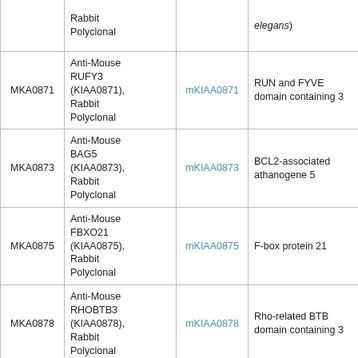| Catalog No. | Description | Gene | Function |
| --- | --- | --- | --- |
|  | Rabbit Polyclonal | elegans) |  |
| MKA0871 | Anti-Mouse RUFY3 (KIAA0871), Rabbit Polyclonal | mKIAA0871 | RUN and FYVE domain containing 3 |
| MKA0873 | Anti-Mouse BAG5 (KIAA0873), Rabbit Polyclonal | mKIAA0873 | BCL2-associated athanogene 5 |
| MKA0875 | Anti-Mouse FBXO21 (KIAA0875), Rabbit Polyclonal | mKIAA0875 | F-box protein 21 |
| MKA0878 | Anti-Mouse RHOBTB3 (KIAA0878), Rabbit Polyclonal | mKIAA0878 | Rho-related BTB domain containing 3 |
| MKA0882 | Anti-Mouse TBC1D9 (KIAA0882), Rabbit Polyclonal | mKIAA0882 | TBC1 domain family, member 9 (with GRAM domain) |